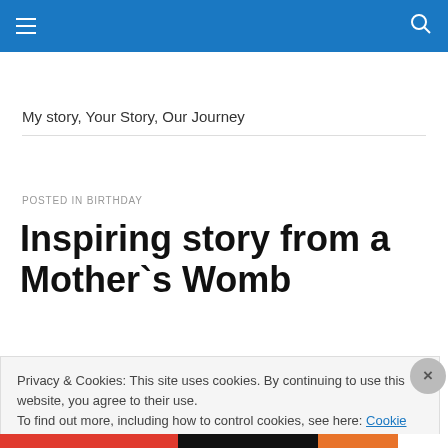Navigation bar with hamburger menu and search icon
My story, Your Story, Our Journey
POSTED IN BIRTHDAY
Inspiring story from a Mother`s Womb
Privacy & Cookies: This site uses cookies. By continuing to use this website, you agree to their use. To find out more, including how to control cookies, see here: Cookie Policy